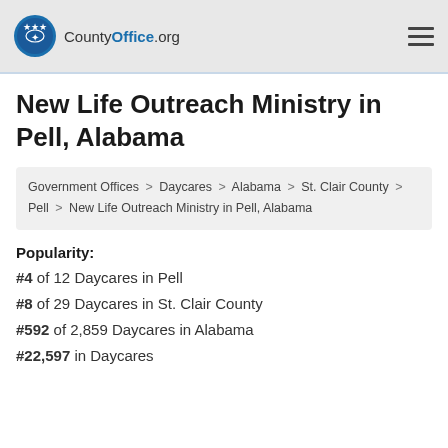CountyOffice.org
New Life Outreach Ministry in Pell, Alabama
Government Offices > Daycares > Alabama > St. Clair County > Pell > New Life Outreach Ministry in Pell, Alabama
Popularity:
#4 of 12 Daycares in Pell
#8 of 29 Daycares in St. Clair County
#592 of 2,859 Daycares in Alabama
#22,597 in Daycares